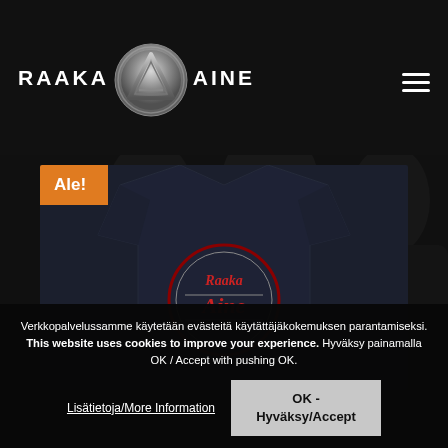RAAKA-AINE logo with navigation menu
[Figure (logo): RAAKA-AINE logo: text RAAKA on left, stylized metallic A triangle emblem in center circle, AINE on right]
[Figure (photo): Dark photo of band members in background, with product card showing a dark navy t-shirt with Raaka Aine circular logo graphic and orange Ale! badge in top left corner]
Verkkopalvelussamme käytetään evästeitä käytättäjäkokemuksen parantamiseksi. This website uses cookies to improve your experience. Hyväksy painamalla OK / Accept with pushing OK.
Lisätietoja/More Information
OK - Hyväksy/Accept